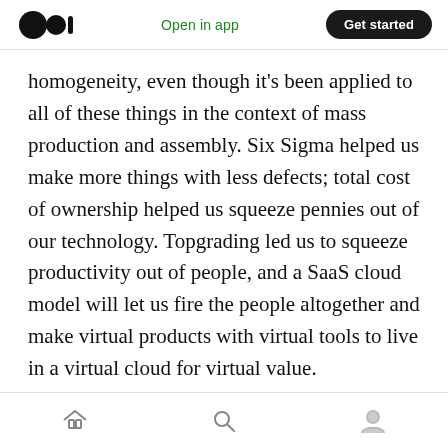Open in app | Get started
homogeneity, even though it’s been applied to all of these things in the context of mass production and assembly. Six Sigma helped us make more things with less defects; total cost of ownership helped us squeeze pennies out of our technology. Topgrading led us to squeeze productivity out of people, and a SaaS cloud model will let us fire the people altogether and make virtual products with virtual tools to live in a virtual cloud for virtual value.
All of these things are the result of incredibly
[home] [search] [profile]